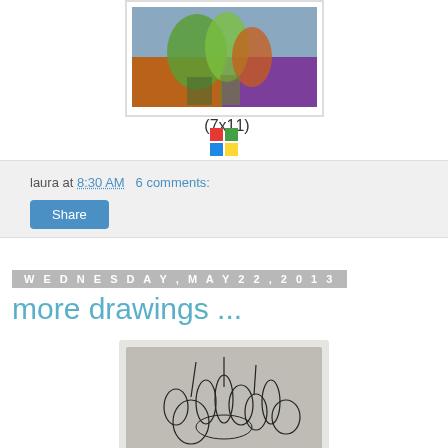[Figure (illustration): Watercolor painting of glass jars/vases on a table with colorful background, blue, green, orange hues. Shown inside a white-bordered frame.]
(7x11)
[Figure (logo): Small colorful share/social icon (Picasa or Google+ style square icon with colored quadrants)]
laura at 8:30 AM    6 comments:
Share
Wednesday, May 22, 2013
more drawings ...
[Figure (illustration): Pen or ink drawing of flowers (tulips/lotus) on textured paper background, shown inside a light gray bordered frame.]